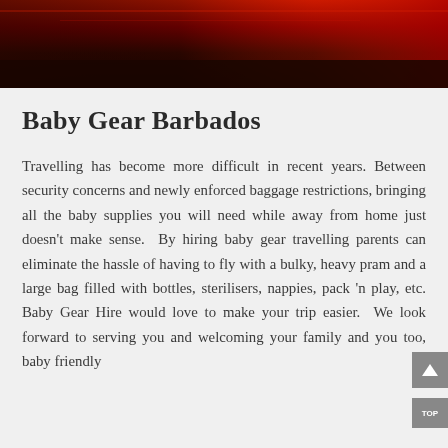[Figure (photo): Dark red and black gradient header image, resembling a dramatic sky or abstract background with deep crimson and dark tones.]
Baby Gear Barbados
Travelling has become more difficult in recent years. Between security concerns and newly enforced baggage restrictions, bringing all the baby supplies you will need while away from home just doesn't make sense. By hiring baby gear travelling parents can eliminate the hassle of having to fly with a bulky, heavy pram and a large bag filled with bottles, sterilisers, nappies, pack 'n play, etc. Baby Gear Hire would love to make your trip easier. We look forward to serving you and welcoming your family and you too, baby friendly